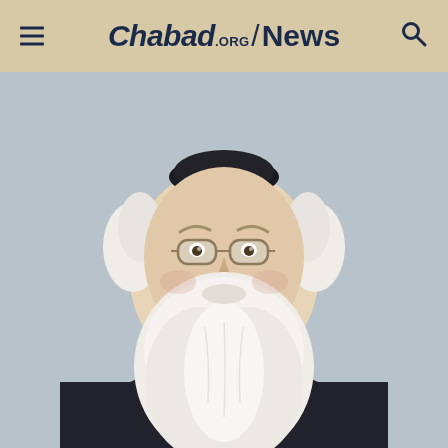Chabad.ORG / News
[Figure (photo): Portrait of an elderly rabbi with a long white beard, wearing a black suit and kippah, smiling, against a light gray background. The Chabad.org/News website screenshot shows this as the main article image.]